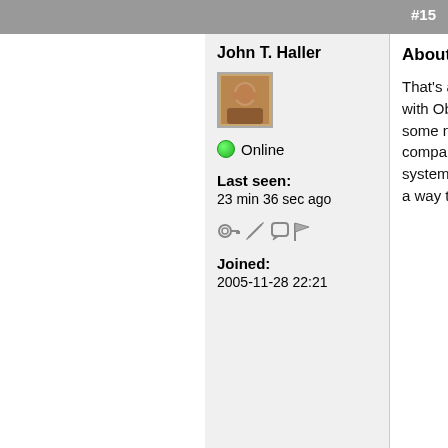#15
John T. Haller
[Figure (photo): Small avatar photo of John T. Haller]
Online
Last seen: 23 min 36 sec ago
[Figure (other): User action icons: key, edit, message, flag]
Joined: 2005-11-28 22:21
About what I thought
That's about what I thought with Object Dock as it does some non-standard stuff as compared to Windows' system tray. I think I know a way to work